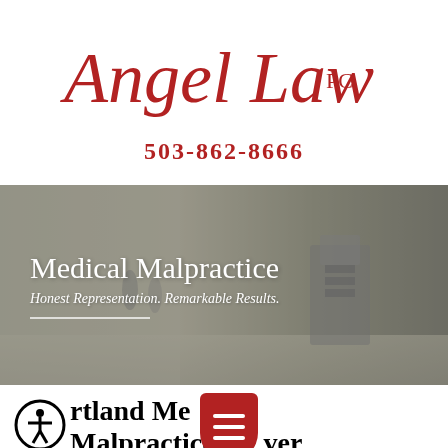[Figure (logo): Angel Law PC logo in red cursive script with 'PC' in serif]
503-862-8666
[Figure (photo): Hospital hallway background image with medical equipment, overlaid with text 'Medical Malpractice' and 'Honest Representation. Remarkable Results.']
Medical Malpractice
Honest Representation. Remarkable Results.
Portland Medical Malpractice Lawyer